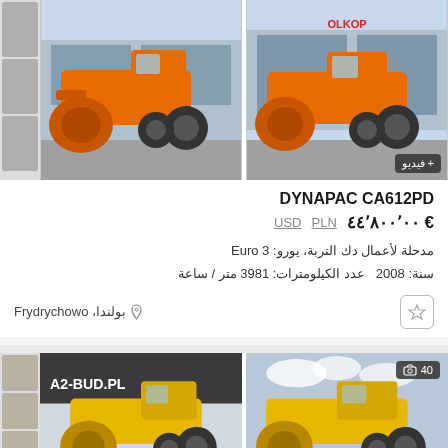[Figure (photo): Orange Dynapac CA612PD road roller, left view, in front of building]
[Figure (photo): Orange Dynapac CA612PD road roller, right view, OLKOP dealer, with video badge]
DYNAPAC CA612PD
€ ٤٤٬٨٠٠٬٠٠  PLN  USD
مدحلة لأعمال دك التربة، يورو: Euro 3
سنة: 2008  عدد الكيلومترات: 3981 متر / ساعة
بولندا، Frydrychowo
[Figure (photo): Yellow road roller, A2-BUD.PL dealer signage]
[Figure (photo): Yellow road roller, 40 photos badge]